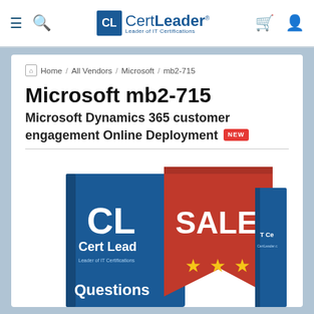CertLeader — Leader of IT Certifications
Home / All Vendors / Microsoft / mb2-715
Microsoft mb2-715
Microsoft Dynamics 365 customer engagement Online Deployment NEW
[Figure (illustration): CertLeader product book with blue cover showing 'CL Cert Leader — Leader of IT Certifications' and 'Questions' text, overlaid with a large red ribbon tag showing 'SALE' and three gold stars]